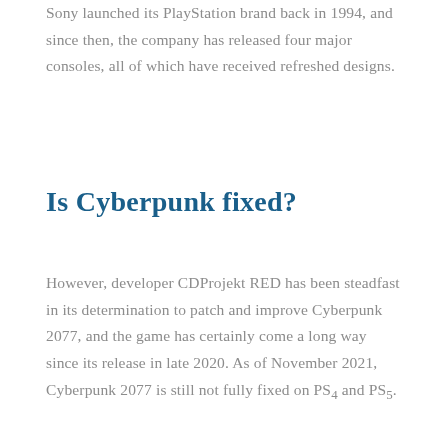Sony launched its PlayStation brand back in 1994, and since then, the company has released four major consoles, all of which have received refreshed designs.
Is Cyberpunk fixed?
However, developer CDProjekt RED has been steadfast in its determination to patch and improve Cyberpunk 2077, and the game has certainly come a long way since its release in late 2020. As of November 2021, Cyberpunk 2077 is still not fully fixed on PS4 and PS5.